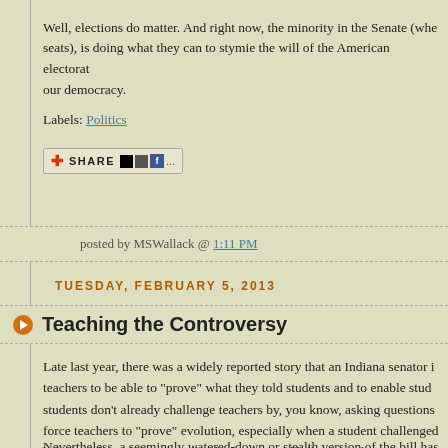Well, elections do matter. And right now, the minority in the Senate (whe... seats), is doing what they can to stymie the will of the American electorat... our democracy.
Labels: Politics
[Figure (other): Share button with social media icons (del.icio.us, digg, facebook)]
posted by MSWallack @ 1:11 PM
TUESDAY, FEBRUARY 5, 2013
Teaching the Controversy
Late last year, there was a widely reported story that an Indiana senator ... teachers to be able to "prove" what they told students and to enable stud... students don't already challenge teachers by, you know, asking questions... force teachers to "prove" evolution, especially when a student challenged... belief. Perhaps due to the ridicule the rumored bill received, it was never... (though its purported author, Sen. Dennis Kruse has offered plenty of oth...
Nevertheless, a seemingly watered-down or stealth version of the bill has...